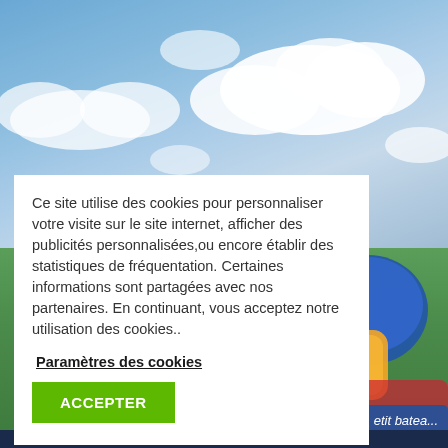[Figure (photo): Outdoor leisure park scene with blue sky and white clouds in the upper portion, and colorful inflatable bounce castle structures with children visible in the lower right. Green trees visible in the background.]
Ce site utilise des cookies pour personnaliser votre visite sur le site internet, afficher des publicités personnalisées,ou encore établir des statistiques de fréquentation. Certaines informations sont partagées avec nos partenaires. En continuant, vous acceptez notre utilisation des cookies..
Paramètres des cookies
ACCEPTER
etit batea...